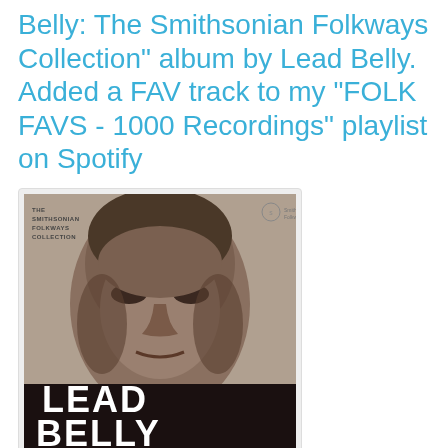Belly: The Smithsonian Folkways Collection" album by Lead Belly. Added a FAV track to my "FOLK FAVS - 1000 Recordings" playlist on Spotify
[Figure (photo): Album cover for 'The Smithsonian Folkways Collection' by Lead Belly. Black and white close-up portrait of Lead Belly's face, with text 'THE SMITHSONIAN FOLKWAYS COLLECTION' in the upper left, a Smithsonian Folkways logo in the upper right, and large bold white text 'LEAD BELLY' in the lower portion of the image.]
Fav track from album: John Henry
Lead Belly